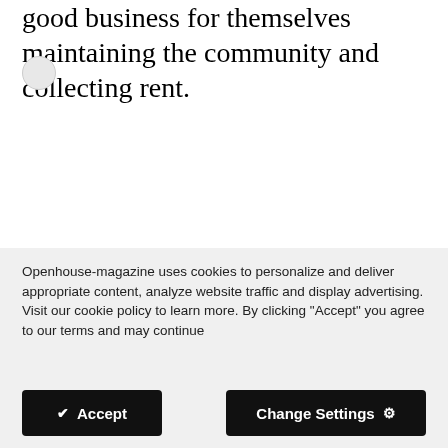good business for themselves maintaining the community and collecting rent.
Openhouse-magazine uses cookies to personalize and deliver appropriate content, analyze website traffic and display advertising. Visit our cookie policy to learn more. By clicking "Accept" you agree to our terms and may continue
✔ Accept
Change Settings ⚙